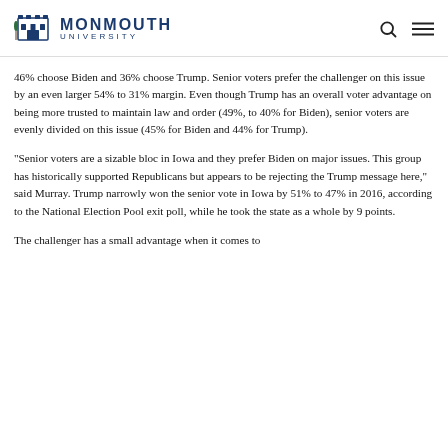MONMOUTH UNIVERSITY
46% choose Biden and 36% choose Trump. Senior voters prefer the challenger on this issue by an even larger 54% to 31% margin. Even though Trump has an overall voter advantage on being more trusted to maintain law and order (49%, to 40% for Biden), senior voters are evenly divided on this issue (45% for Biden and 44% for Trump).
“Senior voters are a sizable bloc in Iowa and they prefer Biden on major issues. This group has historically supported Republicans but appears to be rejecting the Trump message here,” said Murray. Trump narrowly won the senior vote in Iowa by 51% to 47% in 2016, according to the National Election Pool exit poll, while he took the state as a whole by 9 points.
The challenger has a small advantage when it comes to